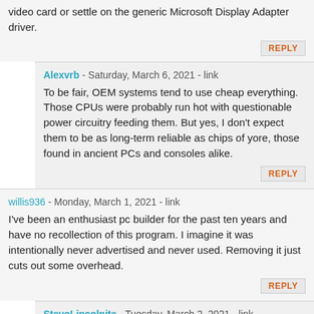video card or settle on the generic Microsoft Display Adapter driver.
REPLY
Alexvrb - Saturday, March 6, 2021 - link
To be fair, OEM systems tend to use cheap everything. Those CPUs were probably run hot with questionable power circuitry feeding them. But yes, I don't expect them to be as long-term reliable as chips of yore, those found in ancient PCs and consoles alike.
REPLY
willis936 - Monday, March 1, 2021 - link
I've been an enthusiast pc builder for the past ten years and have no recollection of this program. I imagine it was intentionally never advertised and never used. Removing it just cuts out some overhead.
REPLY
StevoLincolnite - Tuesday, March 2, 2021 - link
I remember it.
Pretty sure Anandtech even did an article on it when it was introduced.